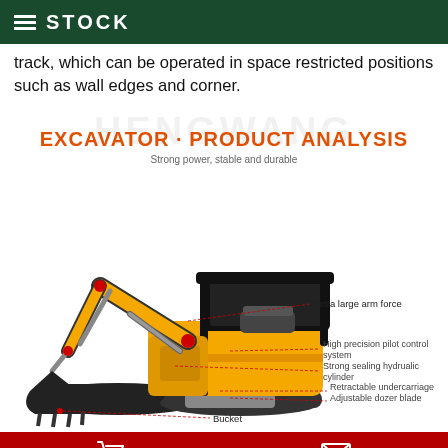STOCK
track, which can be operated in space restricted positions such as wall edges and corner.
[Figure (engineering-diagram): Excavator product analysis diagram with labeled components: Extra large arm force, High precision pilot control system, Strong sealing hydrualic cylinder, Retractable undercarriage, Adjustable dozer blade, Bucket. Yellow mini excavator with black tracks and canopy.]
Shopping cart icon and envelope icon